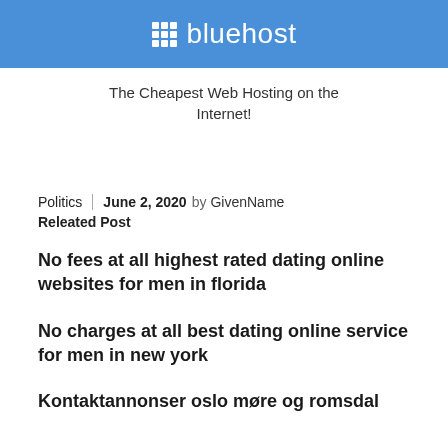[Figure (logo): Bluehost logo on blue banner background with white grid icon and white text]
The Cheapest Web Hosting on the Internet!
Politics | June 2, 2020 by GivenName
Releated Post
No fees at all highest rated dating online websites for men in florida
No charges at all best dating online service for men in new york
Kontaktannonser oslo møre og romsdal